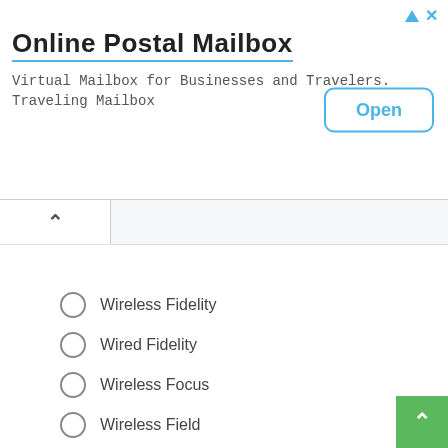[Figure (other): Advertisement banner for 'Online Postal Mailbox' with subtitle 'Virtual Mailbox for Businesses and Travelers. Traveling Mailbox' and an 'Open' button]
Wireless Fidelity
Wired Fidelity
Wireless Focus
Wireless Field
5. A computer virus is
A Micro organism
Electromagnetic waves entering computer through a network